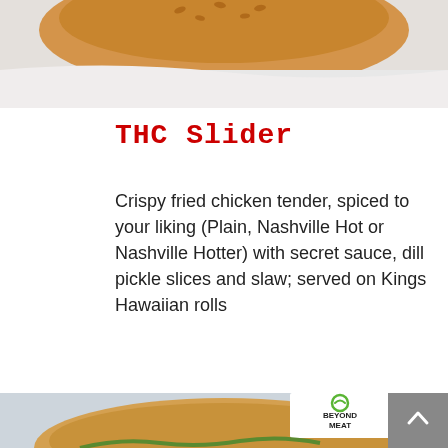[Figure (photo): Top portion of a sandwich or burger on a light background, cropped at bottom of bun]
THC Slider
Crispy fried chicken tender, spiced to your liking (Plain, Nashville Hot or Nashville Hotter) with secret sauce, dill pickle slices and slaw; served on Kings Hawaiian rolls
[Figure (photo): A burger/sandwich on a light blue background with a Beyond Meat branded flag toothpick inserted in the top bun, showing the Beyond Meat logo with green leaf icon]